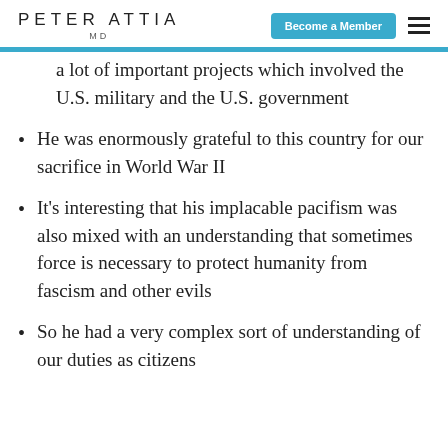PETER ATTIA MD | Become a Member
a lot of important projects which involved the U.S. military and the U.S. government
He was enormously grateful to this country for our sacrifice in World War II
It's interesting that his implacable pacifism was also mixed with an understanding that sometimes force is necessary to protect humanity from fascism and other evils
So he had a very complex sort of understanding of our duties as citizens